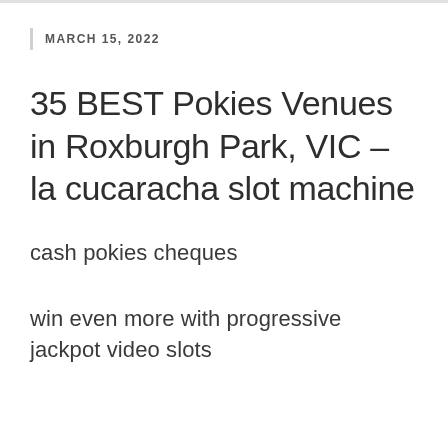MARCH 15, 2022
35 BEST Pokies Venues in Roxburgh Park, VIC – la cucaracha slot machine
cash pokies cheques
win even more with progressive jackpot video slots